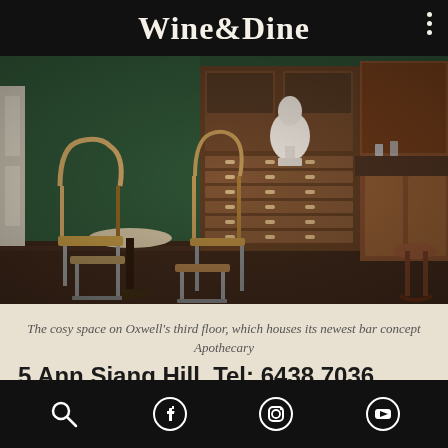Wine&Dine
[Figure (photo): Interior of a cosy restaurant/bar space showing wooden cabinetry with small drawers, a white classical bust sculpture, bistro chairs and tables on the left, and bar stools on the right, with dark green walls in the background.]
The cosy space on Oxwell's third floor, which houses its newest bar concept Apothecary
5 Ann Siang Hill. Tel: 6438 7036
Search | Facebook | Instagram | YouTube